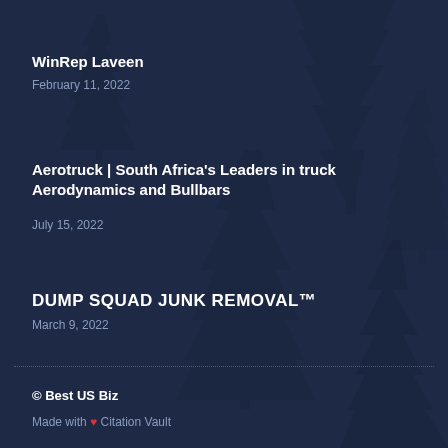WinRep Laveen
February 11, 2022
Aerotruck | South Africa's Leaders in truck Aerodynamics and Bullbars
July 15, 2022
DUMP SQUAD JUNK REMOVAL™
March 9, 2022
© Best US Biz
Made with ❤ Citation Vault